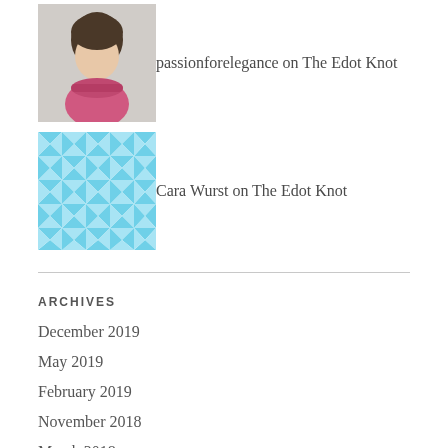passionforelegance on The Edot Knot
Cara Wurst on The Edot Knot
ARCHIVES
December 2019
May 2019
February 2019
November 2018
March 2018